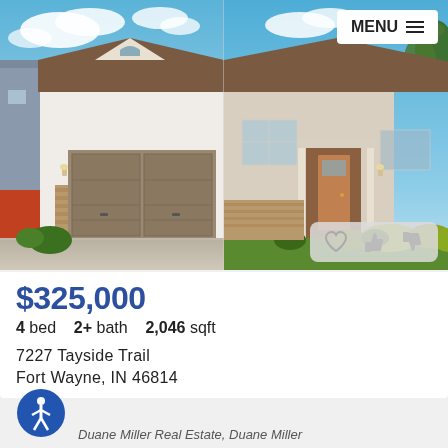[Figure (photo): Exterior photo of a single-story ranch house with two-car garage, brick and vinyl siding, brown roof, landscaped front yard with green shrubs, blue sky with clouds. Two-panel composite showing left side with garage/driveway, right side with front entry/yard.]
$325,000
4 bed  2+ bath  2,046 sqft
7227 Tayside Trail
Fort Wayne, IN 46814
[Figure (logo): Accessibility icon: blue circle with white person/wheelchair symbol]
Duane Miller Real Estate, Duane Miller